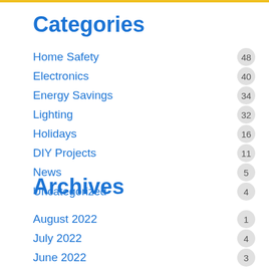Categories
Home Safety 48
Electronics 40
Energy Savings 34
Lighting 32
Holidays 16
DIY Projects 11
News 5
Uncategorized 4
Archives
August 2022 1
July 2022 4
June 2022 3